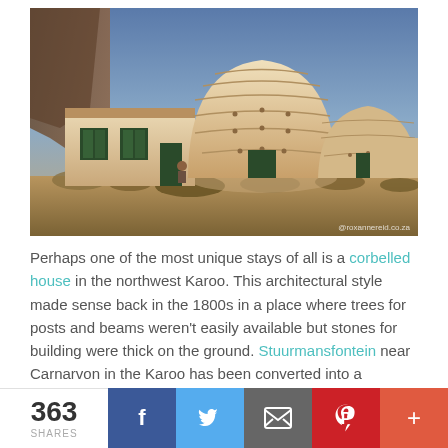[Figure (photo): Exterior photograph of Stuurmansfontein corbelled house near Carnarvon, South Africa. White dome-shaped stone buildings (corbelled architecture) under a blue sky with warm golden light. A person sits in a chair outside. Dry Karoo scrubland in the foreground. Watermark: @roxannereid.co.za]
Perhaps one of the most unique stays of all is a corbelled house in the northwest Karoo. This architectural style made sense back in the 1800s in a place where trees for posts and beams weren't easily available but stones for building were thick on the ground. Stuurmansfontein near Carnarvon in the Karoo has been converted into a charming self-catering guesthouse where you can enjoy the simple life. There's an equipped kitchen, living room, dining area, bedroom with brass bed and separate
363 SHARES | Facebook | Twitter | Email | Pinterest | More